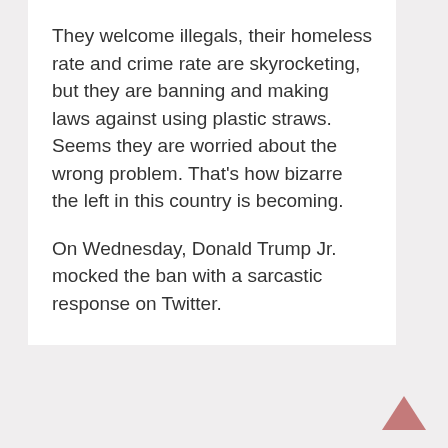They welcome illegals, their homeless rate and crime rate are skyrocketing, but they are banning and making laws against using plastic straws. Seems they are worried about the wrong problem. That's how bizarre the left in this country is becoming.
On Wednesday, Donald Trump Jr. mocked the ban with a sarcastic response on Twitter.